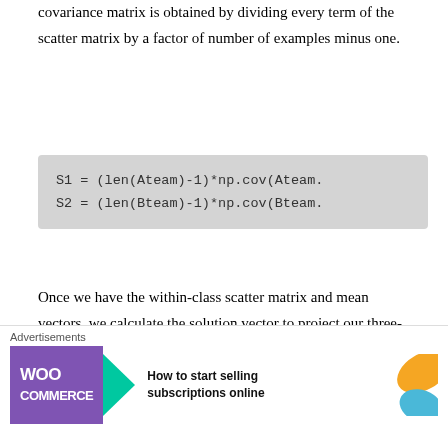covariance matrix is obtained by dividing every term of the scatter matrix by a factor of number of examples minus one.
S1 = (len(Ateam)-1)*np.cov(Ateam.
S2 = (len(Bteam)-1)*np.cov(Bteam.
Once we have the within-class scatter matrix and mean vectors, we calculate the solution vector to project our three-dimensional data to a line by following the steps shown below.
from numpy.linalg import inv